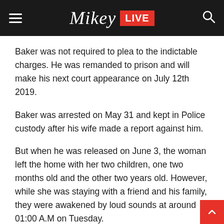Mikey LIVE
Baker was not required to plea to the indictable charges. He was remanded to prison and will make his next court appearance on July 12th 2019.
Baker was arrested on May 31 and kept in Police custody after his wife made a report against him.
But when he was released on June 3, the woman left the home with her two children, one two months old and the other two years old. However, while she was staying with a friend and his family, they were awakened by loud sounds at around 01:00 A.M on Tuesday.
Upon investigation, the family found that Baker had kicked